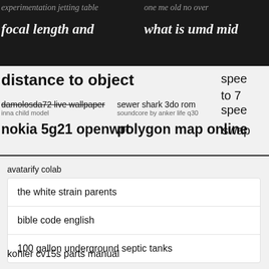experimentation jetting table
one me old no over
focal length and what is umd mid
distance to object
spee to 7 spee
damolosda72 live wallpaper
inna child model
sewer shark 3do rom
soundcore by anker life q30
swap
nokia 5g21 openwrt
polygon map online
avatarify colab
the white strain parents
bible code english
100 gallon underground septic tanks
kohler cv15s parts manual